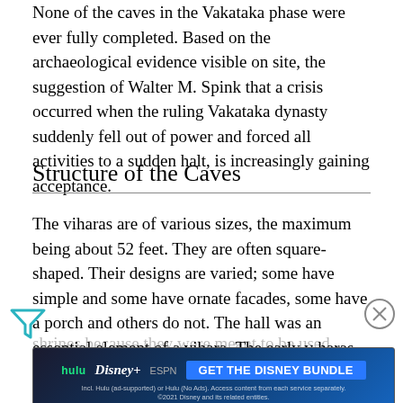None of the caves in the Vakataka phase were ever fully completed. Based on the archaeological evidence visible on site, the suggestion of Walter M. Spink that a crisis occurred when the ruling Vakataka dynasty suddenly fell out of power and forced all activities to a sudden halt, is increasingly gaining acceptance.
Structure of the Caves
The viharas are of various sizes, the maximum being about 52 feet. They are often square-shaped. Their designs are varied; some have simple and some have ornate facades, some have a porch and others do not. The hall was an essential element of a vihara. The early viharas of the Vakataka phase were not intended to have shrines because they were meant to be used solely as halls of assembly, set in the back ... lines were fashion to house a central object of reverence; often the image of the Buddha or another sacred figure.
[Figure (other): Advertisement banner for Disney Bundle (Hulu, Disney+, ESPN+)]